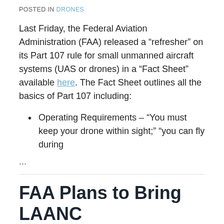POSTED IN DRONES
Last Friday, the Federal Aviation Administration (FAA) released a “refresher” on its Part 107 rule for small unmanned aircraft systems (UAS or drones) in a “Fact Sheet” available here. The Fact Sheet outlines all the basics of Part 107 including:
Operating Requirements – “You must keep your drone within sight;” “you can fly during
...
FAA Plans to Bring LAANC to 500 More Airports by